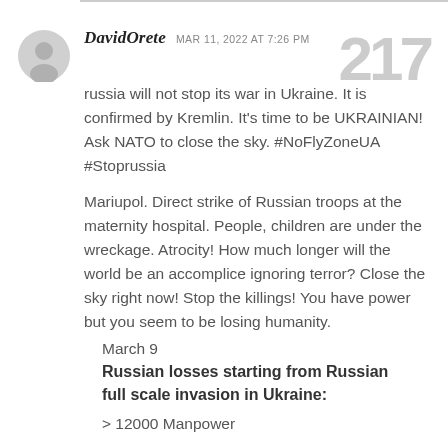DavidOrete   MAR 11, 2022 AT 7:26 PM   217
russia will not stop its war in Ukraine. It is confirmed by Kremlin. It's time to be UKRAINIAN! Ask NATO to close the sky. #NoFlyZoneUA #Stoprussia
Mariupol. Direct strike of Russian troops at the maternity hospital. People, children are under the wreckage. Atrocity! How much longer will the world be an accomplice ignoring terror? Close the sky right now! Stop the killings! You have power but you seem to be losing humanity.
March 9
Russian losses starting from Russian full scale invasion in Ukraine:
> 12000 Manpower